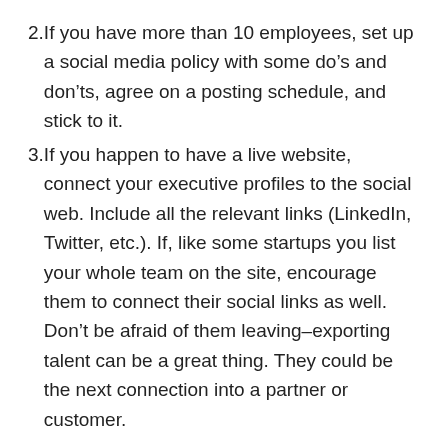2. If you have more than 10 employees, set up a social media policy with some do's and don'ts, agree on a posting schedule, and stick to it.
3. If you happen to have a live website, connect your executive profiles to the social web. Include all the relevant links (LinkedIn, Twitter, etc.). If, like some startups you list your whole team on the site, encourage them to connect their social links as well. Don't be afraid of them leaving–exporting talent can be a great thing. They could be the next connection into a partner or customer.
These are the basics. As you grow, so will your digital footprint, and as one of my friends @katrinaklier likes to say, “if it’s online, it’s marketing material, whether it’s a person or a product.”